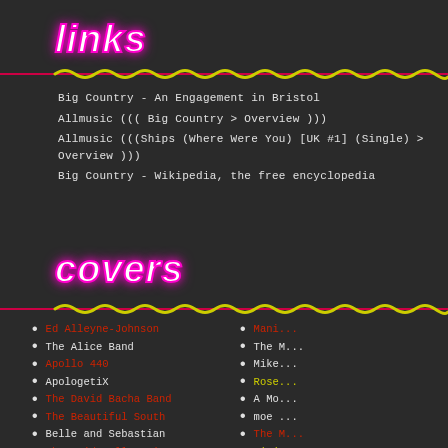links
Big Country - An Engagement in Bristol
Allmusic ((( Big Country > Overview )))
Allmusic (((Ships (Where Were You) [UK #1] (Single) > Overview )))
Big Country - Wikipedia, the free encyclopedia
covers
Ed Alleyne-Johnson
The Alice Band
Apollo 440
ApologetiX
The David Bacha Band
The Beautiful South
Belle and Sebastian
The Bridewell Taxis
Built to Spill
The Caesars
Camille and Kennerly
Candlemass
The Cat and Owl
Jerry Chapman
Mani...
The M...
Mike...
Rose...
A Mo...
moe....
The M...
Ninja...
The P...
Phlo...
Pierc...
Proza...
R.E.M...
The R...